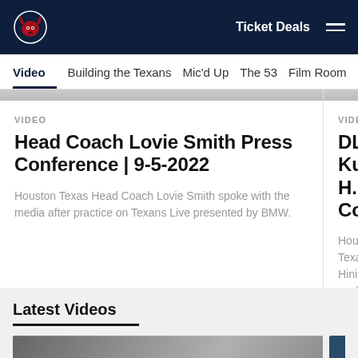Houston Texans — Ticket Deals
Video  Building the Texans  Mic'd Up  The 53  Film Room  High...
VIDEO
Head Coach Lovie Smith Press Conference | 9-5-2022
Houston Texas Head Coach Lovie Smith spoke with the media after practice on Texans Live presented by BMW.
VIDEO
DL Kurt H... Conferen...
Houston Texa... Hinish spoke... Texans Live p...
Latest Videos
[Figure (photo): Blurred video thumbnail for a Houston Texans video]
[Figure (photo): Side thumbnail showing Houston Texans logo and BMW logo on dark blue background]